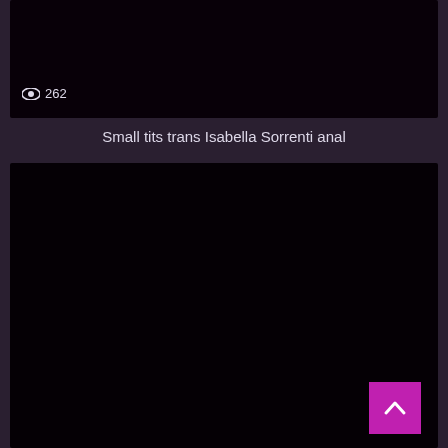[Figure (photo): Dark/black image area at the top of the page]
👁 262
Small tits trans Isabella Sorrenti anal
[Figure (photo): Large dark/black image area at the bottom of the page with a magenta scroll-to-top button in the bottom right corner]